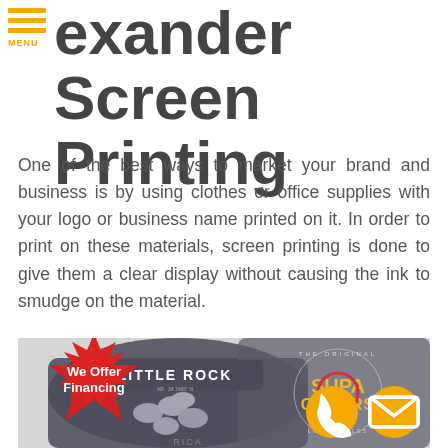exander Screen Printing
One of the best ways to market your brand and business is by using clothes or office supplies with your logo or business name printed on it. In order to print on these materials, screen printing is done to give them a clear display without causing the ink to smudge on the material.
[Figure (photo): Photo of screen-printed t-shirts including one reading 'LITTLE ROCK' and another with 'THE ORIGINAL SUPA COLORS' logo with circular badge design. Red starburst badge reads 'We Offer Financing'. Two orange circular buttons for phone and email are visible.]